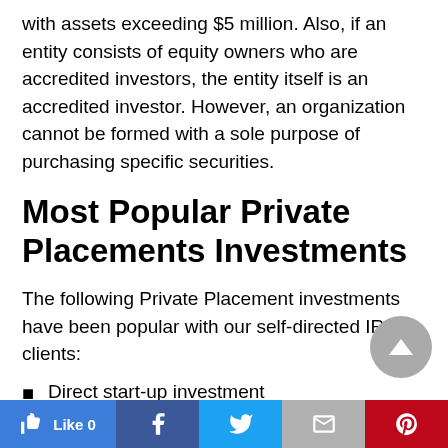with assets exceeding $5 million. Also, if an entity consists of equity owners who are accredited investors, the entity itself is an accredited investor. However, an organization cannot be formed with a sole purpose of purchasing specific securities.
Most Popular Private Placements Investments
The following Private Placement investments have been popular with our self-directed IRA clients:
Direct start-up investment
[Figure (other): Gray circular scroll-to-top button with upward triangle arrow]